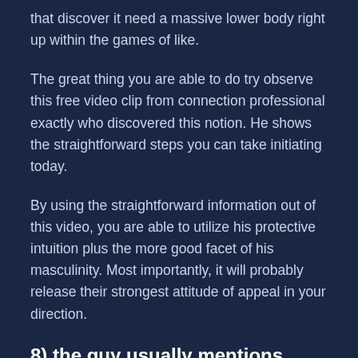that discover it need a massive lower body right up within the games of like.
The great thing you are able to do try observe this free video clip from connection professional exactly who discovered this notion. He shows the straightforward steps you can take initiating today.
By using the straightforward information out of this video, you are able to utilize his protective intuition plus the more good facet of his masculinity. Most importantly, it will probably release their strongest attitude of appeal in your direction.
8) the guy usually mentions your on social media marketing